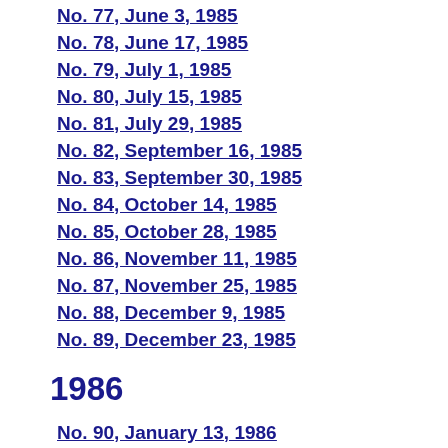No. 77, June 3, 1985
No. 78, June 17, 1985
No. 79, July 1, 1985
No. 80, July 15, 1985
No. 81, July 29, 1985
No. 82, September 16, 1985
No. 83, September 30, 1985
No. 84, October 14, 1985
No. 85, October 28, 1985
No. 86, November 11, 1985
No. 87, November 25, 1985
No. 88, December 9, 1985
No. 89, December 23, 1985
1986
No. 90, January 13, 1986